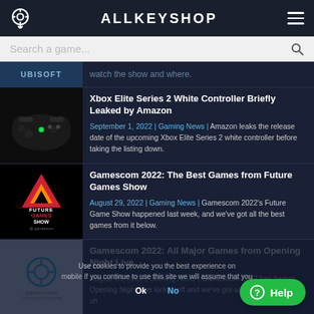ALLKEYSHOP
Search a game...
UBISOFT | watch the show and where.
Xbox Elite Series 2 White Controller Briefly Leaked by Amazon
September 1, 2022 | Gaming News | Amazon leaks the release date of the upcoming Xbox Elite Series 2 white controller before taking the listing down.
Gamescom 2022: The Best Games from Future Games Show
August 29, 2022 | Gaming News | Gamescom 2022's Future Game Show happened last week, and we've got all the best games from it below.
Gamescom 2022: All Major Games from Opening Night Live
August 25, 2022 | Gaming News | Gamescom 2022 has begun. Opening Night Live kicked off and we've got all the major games sh...
Gamescom Opening Night Live 2022